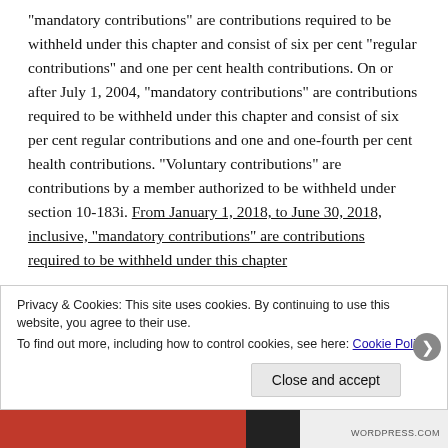“mandatory contributions” are contributions required to be withheld under this chapter and consist of six per cent “regular contributions” and one per cent health contributions. On or after July 1, 2004, “mandatory contributions” are contributions required to be withheld under this chapter and consist of six per cent regular contributions and one and one-fourth per cent health contributions. “Voluntary contributions” are contributions by a member authorized to be withheld under section 10-183i. From January 1, 2018, to June 30, 2018, inclusive, “mandatory contributions” are contributions required to be withheld under this chapter
Privacy & Cookies: This site uses cookies. By continuing to use this website, you agree to their use. To find out more, including how to control cookies, see here: Cookie Policy
Close and accept